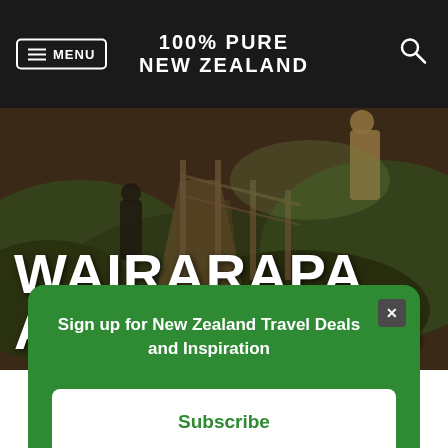MENU | 100% PURE NEW ZEALAND | Search
[Figure (photo): Outdoor walkway/boardwalk scene with people walking among lush green vegetation, golden hour lighting]
WAIRARAPA ATTRACTIONS
Sign up for New Zealand Travel Deals and Inspiration
Subscribe